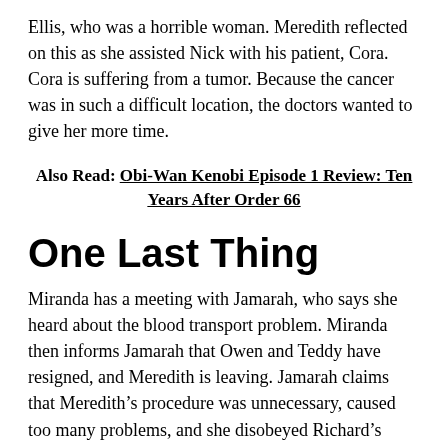Ellis, who was a horrible woman. Meredith reflected on this as she assisted Nick with his patient, Cora. Cora is suffering from a tumor. Because the cancer was in such a difficult location, the doctors wanted to give her more time.
Also Read: Obi-Wan Kenobi Episode 1 Review: Ten Years After Order 66
One Last Thing
Miranda has a meeting with Jamarah, who says she heard about the blood transport problem. Miranda then informs Jamarah that Owen and Teddy have resigned, and Meredith is leaving. Jamarah claims that Meredith’s procedure was unnecessary, caused too many problems, and she disobeyed Richard’s order. She informs Miranda